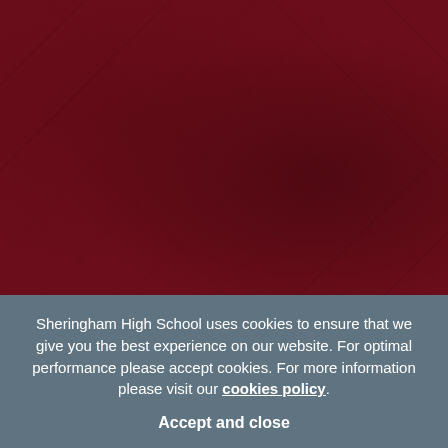[Figure (photo): Dark crimson/maroon textured background image filling the upper portion of the page, appearing to be a school building or decorative background with diagonal texture patterns.]
Sheringham High School uses cookies to ensure that we give you the best experience on our website. For optimal performance please accept cookies. For more information please visit our cookies policy.
Accept and close